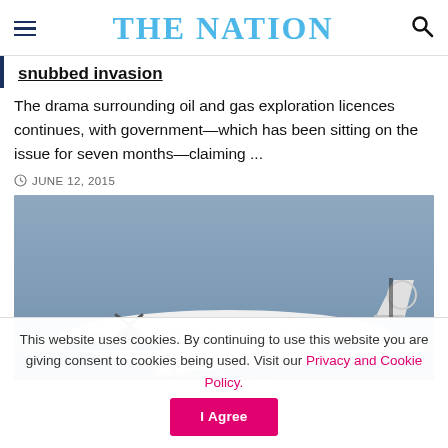THE NATION
snubbed invasion
The drama surrounding oil and gas exploration licences continues, with government—which has been sitting on the issue for seven months—claiming ...
JUNE 12, 2015
[Figure (photo): White propeller aircraft with blue stripe on fuselage, photographed on the ground against a grey-blue sky, with watermark 'www.nationkosmo.com']
This website uses cookies. By continuing to use this website you are giving consent to cookies being used. Visit our Privacy and Cookie Policy.